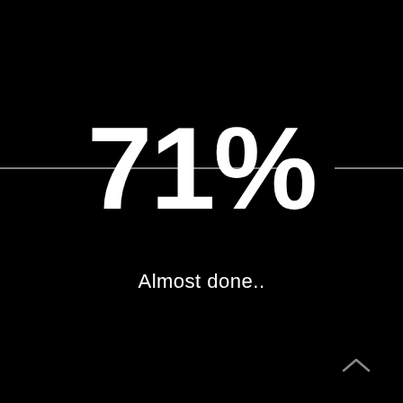71%
Almost done..
[Figure (other): Upward-pointing chevron arrow icon in gray at bottom-right corner]